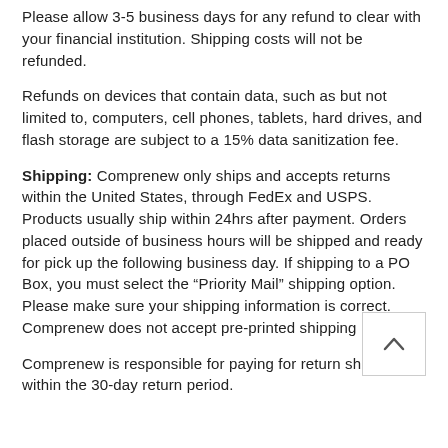Please allow 3-5 business days for any refund to clear with your financial institution. Shipping costs will not be refunded.
Refunds on devices that contain data, such as but not limited to, computers, cell phones, tablets, hard drives, and flash storage are subject to a 15% data sanitization fee.
Shipping: Comprenew only ships and accepts returns within the United States, through FedEx and USPS. Products usually ship within 24hrs after payment. Orders placed outside of business hours will be shipped and ready for pick up the following business day. If shipping to a PO Box, you must select the “Priority Mail” shipping option. Please make sure your shipping information is correct. Comprenew does not accept pre-printed shipping labels.
Comprenew is responsible for paying for return shipping within the 30-day return period.